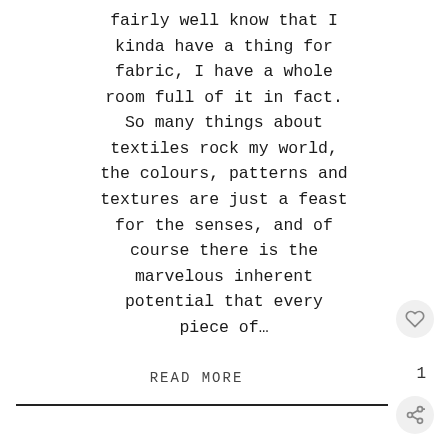fairly well know that I kinda have a thing for fabric, I have a whole room full of it in fact. So many things about textiles rock my world, the colours, patterns and textures are just a feast for the senses, and of course there is the marvelous inherent potential that every piece of…
READ MORE